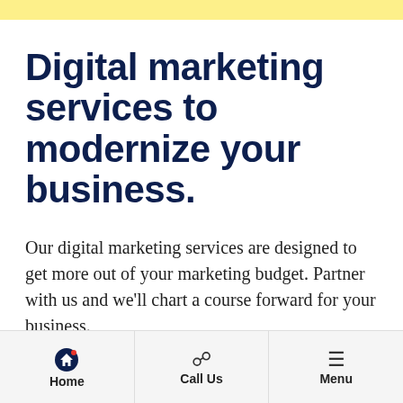Digital marketing services to modernize your business.
Our digital marketing services are designed to get more out of your marketing budget. Partner with us and we’ll chart a course forward for your business.
Home | Call Us | Menu